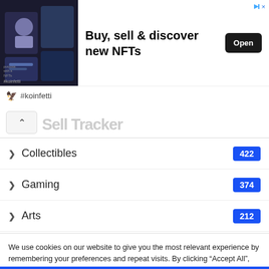[Figure (screenshot): Advertisement banner for NFT marketplace koinfetti showing 'Buy, sell & discover new NFTs' with Open button]
Buy, sell & discover new NFTs
#koinfetti
Collectibles 422
Gaming 374
Arts 212
Metaverse 203
We use cookies on our website to give you the most relevant experience by remembering your preferences and repeat visits. By clicking "Accept All", you consent to the use of ALL the cookies. However, you may visit "Cookie Settings" to provide a controlled consent.